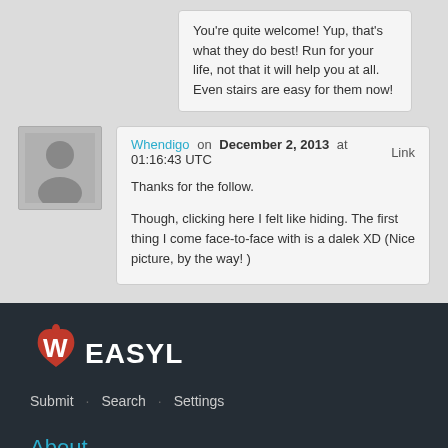You're quite welcome! Yup, that's what they do best! Run for your life, not that it will help you at all. Even stairs are easy for them now!
Whendigo on December 2, 2013 at 01:16:43 UTC  Link
Thanks for the follow.

Though, clicking here I felt like hiding. The first thing I come face-to-face with is a dalek XD (Nice picture, by the way! )
[Figure (logo): Weasyl logo — red heart shape with white W letter and EASYL text in white/light color]
Submit  ·  Search  ·  Settings
About
About Weasyl  News  FAQ  Staff  Awesome People
Community